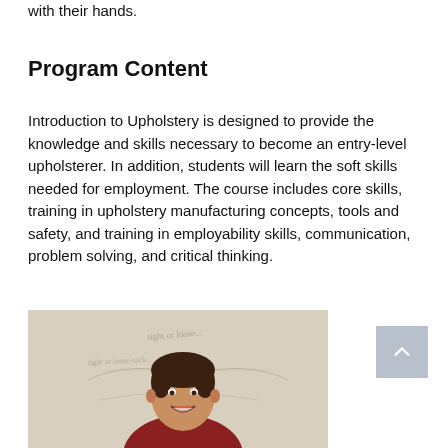with their hands.
Program Content
Introduction to Upholstery is designed to provide the knowledge and skills necessary to become an entry-level upholsterer. In addition, students will learn the soft skills needed for employment. The course includes core skills, training in upholstery manufacturing concepts, tools and safety, and training in employability skills, communication, problem solving, and critical thinking.
[Figure (photo): A smiling young man sitting in front of a fabric/upholstery background with handwritten text on fabric or paper behind him.]